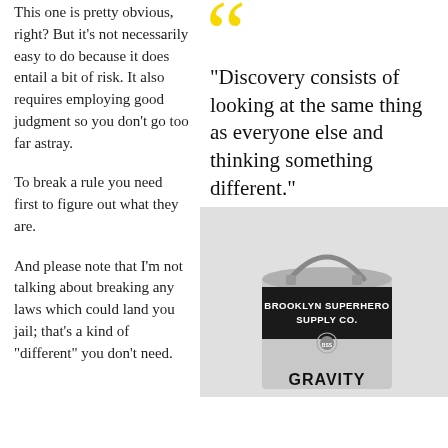This one is pretty obvious, right? But it's not necessarily easy to do because it does entail a bit of risk. It also requires employing good judgment so you don't go too far astray.
To break a rule you need first to figure out what they are.
And please note that I'm not talking about breaking any laws which could land you jail; that's a kind of “different” you don’t need.
“Discovery consists of looking at the same thing as everyone else and thinking something different.”
[Figure (photo): A paint can labeled 'Brooklyn Superhero Supply Co.' with 'GRAVITY' text at the bottom, on a light grey background.]